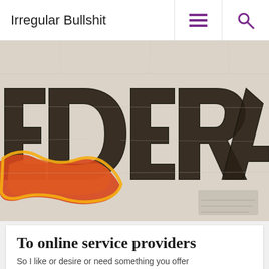Irregular Bullshit
[Figure (photo): Street graffiti on a white brick wall spelling 'FEDERACIS' (partially visible) in large dark letters, with red and yellow graffiti in the lower left portion of the image.]
To online service providers
So I like or desire or need something you offer